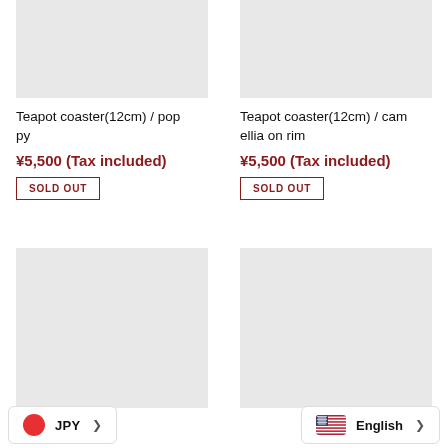[Figure (photo): Product image placeholder (light gray rectangle) for Teapot coaster poppy]
[Figure (photo): Product image placeholder (light gray rectangle) for Teapot coaster camellia on rim]
Teapot coaster(12cm) / poppy
Teapot coaster(12cm) / camellia on rim
¥5,500 (Tax included)
¥5,500 (Tax included)
SOLD OUT
SOLD OUT
[Figure (photo): Product image placeholder (light gray rectangle) bottom left]
[Figure (photo): Product image placeholder (light gray rectangle) bottom right]
JPY
English